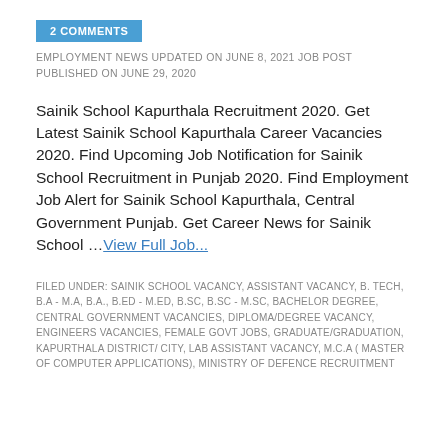2 COMMENTS
EMPLOYMENT NEWS UPDATED ON JUNE 8, 2021 JOB POST PUBLISHED ON JUNE 29, 2020
Sainik School Kapurthala Recruitment 2020. Get Latest Sainik School Kapurthala Career Vacancies 2020. Find Upcoming Job Notification for Sainik School Recruitment in Punjab 2020. Find Employment Job Alert for Sainik School Kapurthala, Central Government Punjab. Get Career News for Sainik School ... View Full Job...
FILED UNDER: SAINIK SCHOOL VACANCY, ASSISTANT VACANCY, B. TECH, B.A - M.A, B.A., B.ED - M.ED, B.SC, B.SC - M.SC, BACHELOR DEGREE, CENTRAL GOVERNMENT VACANCIES, DIPLOMA/DEGREE VACANCY, ENGINEERS VACANCIES, FEMALE GOVT JOBS, GRADUATE/GRADUATION, KAPURTHALA DISTRICT/CITY, LAB ASSISTANT VACANCY, M.C.A ( MASTER OF COMPUTER APPLICATIONS), MINISTRY OF DEFENCE RECRUITMENT